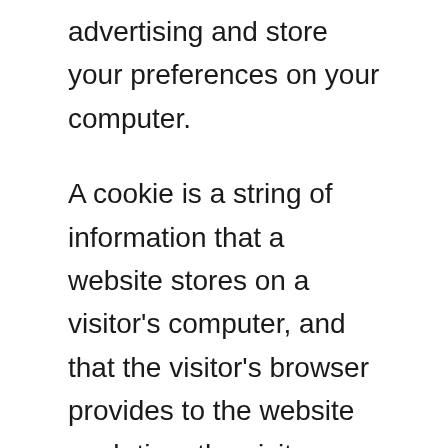advertising and store your preferences on your computer.
A cookie is a string of information that a website stores on a visitor's computer, and that the visitor's browser provides to the website each time the visitor returns. Backyartisan.com uses cookies to help Backyartisan.com identify and track visitors, their usage of https://backyartisan.com/, and their website access preferences. Backyartisan.com visitors who do not wish to have cookies placed on their computers should set their browsers to refuse cookies before visiting Backyartisan.com,